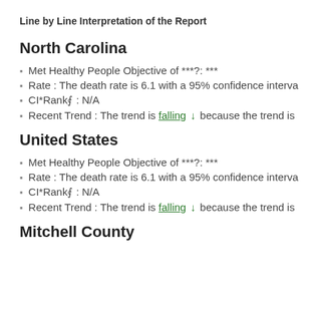Line by Line Interpretation of the Report
North Carolina
Met Healthy People Objective of ***?: ***
Rate : The death rate is 6.1 with a 95% confidence interva
CI*Rank⋔ : N/A
Recent Trend : The trend is falling ↓ because the trend is
United States
Met Healthy People Objective of ***?: ***
Rate : The death rate is 6.1 with a 95% confidence interva
CI*Rank⋔ : N/A
Recent Trend : The trend is falling ↓ because the trend is
Mitchell County